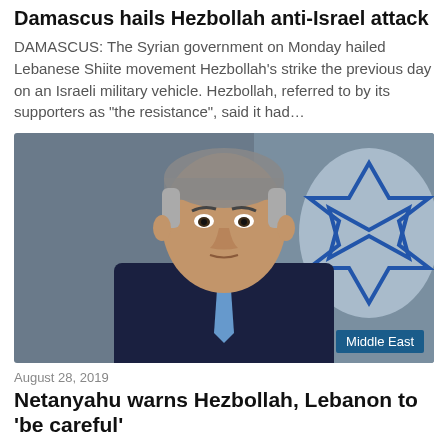Damascus hails Hezbollah anti-Israel attack
DAMASCUS: The Syrian government on Monday hailed Lebanese Shiite movement Hezbollah’s strike the previous day on an Israeli military vehicle. Hezbollah, referred to by its supporters as “the resistance”, said it had…
[Figure (photo): Photo of a man in a dark suit with a blue tie, with an Israeli flag visible in the background. A 'Middle East' tag label appears in the bottom-right corner of the image.]
Middle East
August 28, 2019
Netanyahu warns Hezbollah, Lebanon to ‘be careful’
Jerusalem: Israeli Prime Minister Benjamin Netanyahu